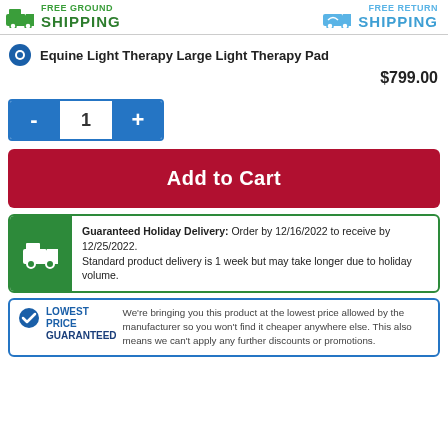FREE GROUND SHIPPING
FREE RETURN SHIPPING
Equine Light Therapy Large Light Therapy Pad
$799.00
1
Add to Cart
Guaranteed Holiday Delivery: Order by 12/16/2022 to receive by 12/25/2022. Standard product delivery is 1 week but may take longer due to holiday volume.
LOWEST PRICE GUARANTEED We're bringing you this product at the lowest price allowed by the manufacturer so you won't find it cheaper anywhere else. This also means we can't apply any further discounts or promotions.